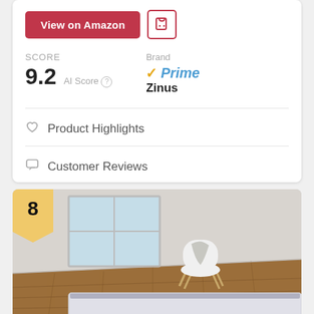[Figure (screenshot): View on Amazon button (red) and a shopping bag icon button]
SCORE
9.2 AI Score
Brand
Zinus
Prime
♡ Product Highlights
☐ Customer Reviews
[Figure (photo): Photo of a room with wood floor, white walls, a white modern chair with a grey blanket draped over it near a window, and a low-profile bed frame or box spring with grey fabric covering in the foreground. Rank badge showing number 8.]